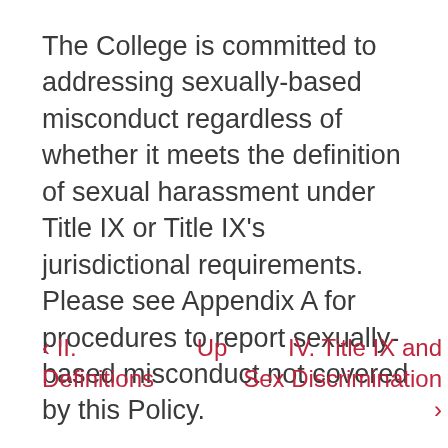The College is committed to addressing sexually-based misconduct regardless of whether it meets the definition of sexual harassment under Title IX or Title IX's jurisdictional requirements. Please see Appendix A for procedures to report sexually-based misconduct not covered by this Policy.
‹ II. Definitions    Up    IV. Title IX and Sex Discrimination ›